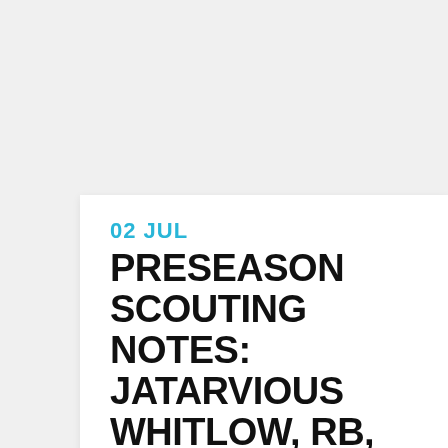02 JUL PRESEASON SCOUTING NOTES: JATARVIOUS WHITLOW, RB, TRANSFER